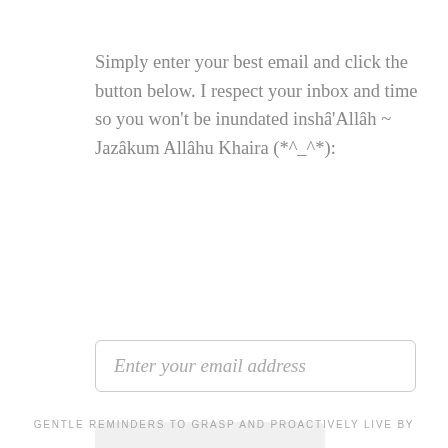Simply enter your best email and click the button below. I respect your inbox and time so you won't be inundated inshâ'Allâh ~ Jazâkum Allâhu Khaira (*^_^*):
Enter your email address
Stay Updated (^_^)
GENTLE REMINDERS TO GRASP AND PROACTIVELY LIVE BY